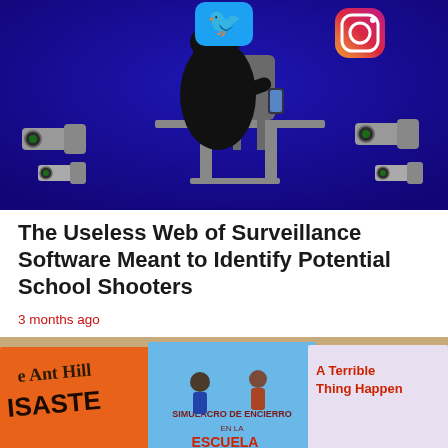[Figure (illustration): Digital illustration showing a silhouetted student sitting at a school desk using a smartphone, with social media icons (Twitter bird, Instagram logo) and security camera icons floating around on a dark blue background.]
The Useless Web of Surveillance Software Meant to Identify Potential School Shooters
3 months ago
[Figure (photo): Photograph of three children's books displayed side by side on a wooden surface: 'The Ant Hill Disaster' (orange cover), 'Simulacro de Encierro en la Escuela de Superhéroes' (blue cover with cartoon children), and 'A Terrible Thing Happens' (light purple cover). The bottom portion shows a blurred/watermarked duplicate of the same image.]